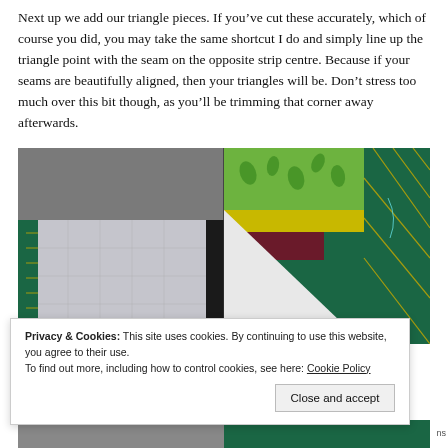Next up we add our triangle pieces. If you've cut these accurately, which of course you did, you may take the same shortcut I do and simply line up the triangle point with the seam on the opposite strip centre. Because if your seams are beautifully aligned, then your triangles will be. Don't stress too much over this bit though, as you'll be trimming that corner away afterwards.
[Figure (photo): Two side-by-side photos showing quilting fabric pieces being lined up. Left image shows grey and white fabric pieces with a green cutting mat. Right image shows colourful patterned fabric with a white triangle piece placed diagonally.]
Privacy & Cookies: This site uses cookies. By continuing to use this website, you agree to their use.
To find out more, including how to control cookies, see here: Cookie Policy
Close and accept
[Figure (photo): Bottom strip showing partial view of quilting fabric pieces, partially cut off.]